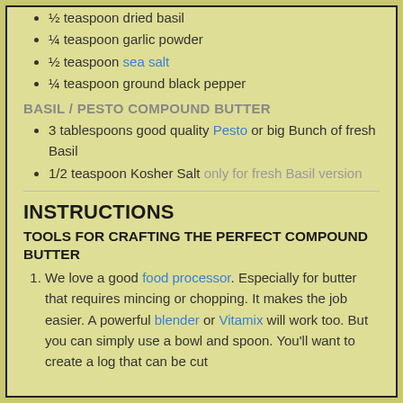½ teaspoon dried basil
¼ teaspoon garlic powder
½ teaspoon sea salt
¼ teaspoon ground black pepper
BASIL / PESTO COMPOUND BUTTER
3 tablespoons good quality Pesto or big Bunch of fresh Basil
1/2 teaspoon Kosher Salt only for fresh Basil version
INSTRUCTIONS
TOOLS FOR CRAFTING THE PERFECT COMPOUND BUTTER
We love a good food processor. Especially for butter that requires mincing or chopping. It makes the job easier. A powerful blender or Vitamix will work too. But you can simply use a bowl and spoon. You'll want to create a log that can be cut